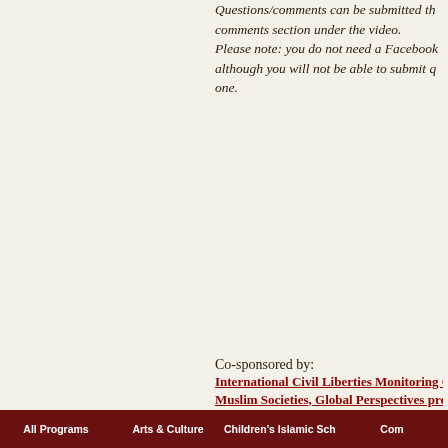Questions/comments can be submitted through the comments section under the video. Please note: you do not need a Facebook account, although you will not be able to submit questions without one.
Co-sponsored by: International Civil Liberties Monitoring Group, Muslim Societies, Global Perspectives program, University, Noor Cultural Centre, UNIFOR Chair in Social Justice and Democracy, University, United Jewish People’s Order, World Beyond War, Yellowhead Institute
All Programs | Arts & Culture | Children’s Islamic School | Com...